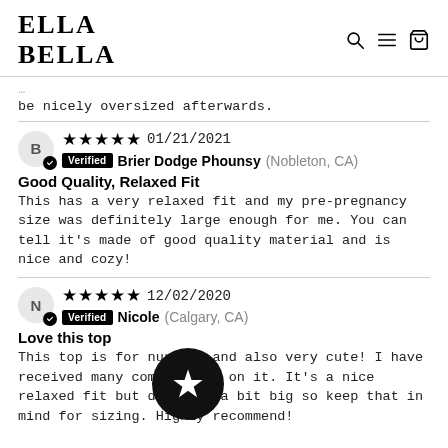ELLA BELLA
be nicely oversized afterwards.
★★★★★ 01/21/2021 Verified Brier Dodge Phounsy (Nobleton, CA)
Good Quality, Relaxed Fit
This has a very relaxed fit and my pre-pregnancy size was definitely large enough for me. You can tell it's made of good quality material and is nice and cozy!
★★★★★ 12/02/2020 Verified Nicole (Calgary, CA)
Love this top
This top is for nursing and also very cute! I have received many compliments on it. It's a nice relaxed fit but does fit a bit big so keep that in mind for sizing. Highly recommend!